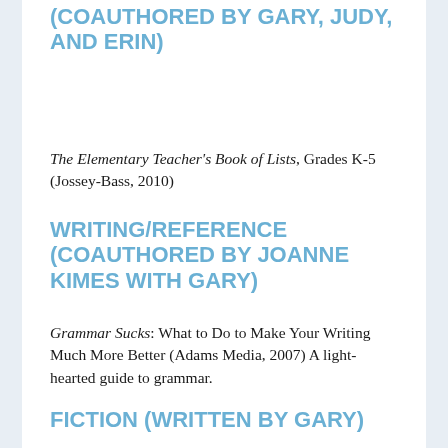(COAUTHORED BY GARY, JUDY, AND ERIN)
The Elementary Teacher's Book of Lists, Grades K-5 (Jossey-Bass, 2010)
WRITING/REFERENCE (COAUTHORED BY JOANNE KIMES WITH GARY)
Grammar Sucks: What to Do to Make Your Writing Much More Better (Adams Media, 2007) A light-hearted guide to grammar.
FICTION (WRITTEN BY GARY)
The Sea Fox (Soul Mate Publishing, 2019) A rousing pirate tale of romance and adventure in its second